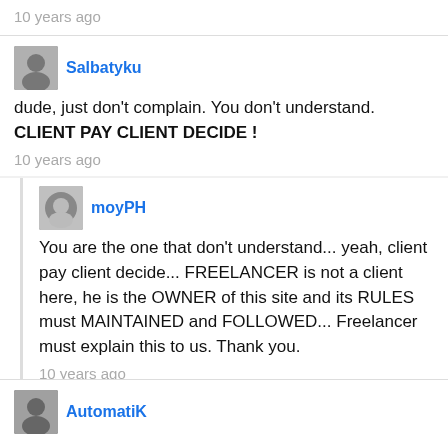10 years ago
Salbatyku
dude, just don't complain. You don't understand. CLIENT PAY CLIENT DECIDE !
10 years ago
moyPH
You are the one that don't understand... yeah, client pay client decide... FREELANCER is not a client here, he is the OWNER of this site and its RULES must MAINTAINED and FOLLOWED... Freelancer must explain this to us. Thank you.
10 years ago
AutomatiK